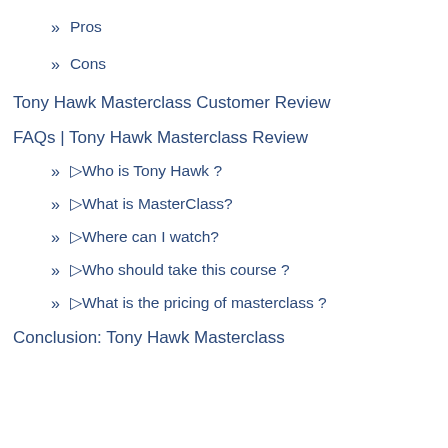» Pros
» Cons
Tony Hawk Masterclass Customer Review
FAQs | Tony Hawk Masterclass Review
» ▷Who is Tony Hawk ?
» ▷What is MasterClass?
» ▷Where can I watch?
» ▷Who should take this course ?
» ▷What is the pricing of masterclass ?
Conclusion: Tony Hawk Masterclass